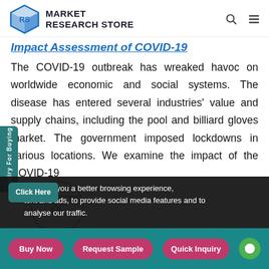Market Research Store
Impact Assessment of COVID-19
The COVID-19 outbreak has wreaked havoc on worldwide economic and social systems. The disease has entered several industries' value and supply chains, including the pool and billiard gloves market. The government imposed lockdowns in various locations. We examine the impact of the COVID-19
s to offer you a better browsing experience, tent and ads, to provide social media features and to analyse our traffic.
Buy Now | Request Sample | Quick Inquiry